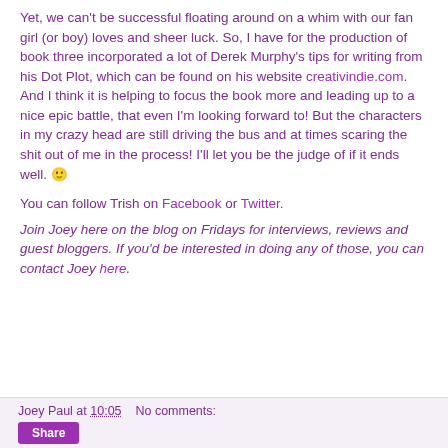Yet, we can't be successful floating around on a whim with our fan girl (or boy) loves and sheer luck. So, I have for the production of book three incorporated a lot of Derek Murphy's tips for writing from his Dot Plot, which can be found on his website creativindie.com. And I think it is helping to focus the book more and leading up to a nice epic battle, that even I'm looking forward to! But the characters in my crazy head are still driving the bus and at times scaring the shit out of me in the process! I'll let you be the judge of if it ends well. 😊
You can follow Trish on Facebook or Twitter.
Join Joey here on the blog on Fridays for interviews, reviews and guest bloggers. If you'd be interested in doing any of those, you can contact Joey here.
Joey Paul at 10:05    No comments: